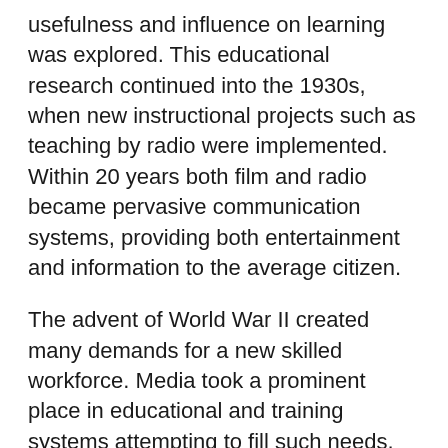usefulness and influence on learning was explored. This educational research continued into the 1930s, when new instructional projects such as teaching by radio were implemented. Within 20 years both film and radio became pervasive communication systems, providing both entertainment and information to the average citizen.
The advent of World War II created many demands for a new skilled workforce. Media took a prominent place in educational and training systems attempting to fill such needs, and much research centered on the use of these media in a wide variety of teaching and learning situations. Media were among the innovations